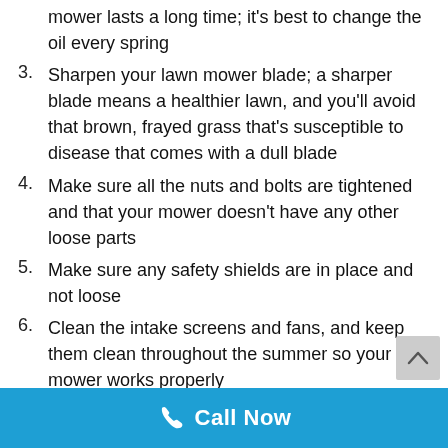mower lasts a long time; it’s best to change the oil every spring
3. Sharpen your lawn mower blade; a sharper blade means a healthier lawn, and you’ll avoid that brown, frayed grass that’s susceptible to disease that comes with a dull blade
4. Make sure all the nuts and bolts are tightened and that your mower doesn’t have any other loose parts
5. Make sure any safety shields are in place and not loose
6. Clean the intake screens and fans, and keep them clean throughout the summer so your mower works properly
Call Now